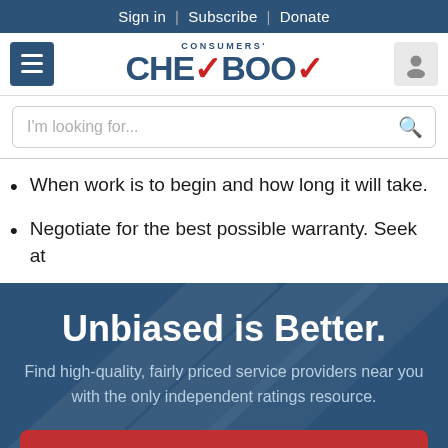Sign in | Subscribe | Donate
[Figure (logo): Consumers' Checkbook logo with red checkmark]
I'm looking for...
When work is to begin and how long it will take.
Negotiate for the best possible warranty. Seek at
Unbiased is Better.
Find high-quality, fairly priced service providers near you with the only independent ratings resource.
JOIN NOW
NO THANKS, MAYBE LATER.